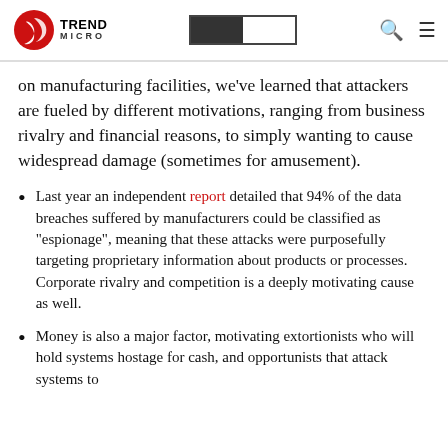Trend Micro [logo and navigation bar]
on manufacturing facilities, we've learned that attackers are fueled by different motivations, ranging from business rivalry and financial reasons, to simply wanting to cause widespread damage (sometimes for amusement).
Last year an independent report detailed that 94% of the data breaches suffered by manufacturers could be classified as "espionage", meaning that these attacks were purposefully targeting proprietary information about products or processes. Corporate rivalry and competition is a deeply motivating cause as well.
Money is also a major factor, motivating extortionists who will hold systems hostage for cash, and opportunists that attack systems to